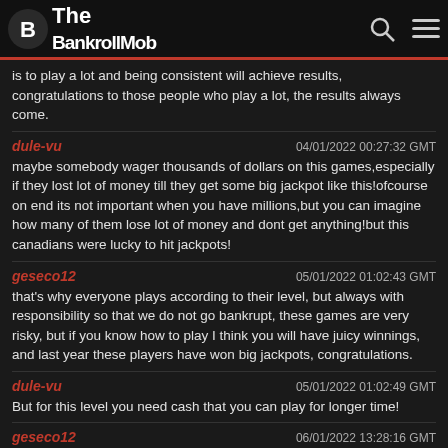The BankrollMob
is to play a lot and being consistent will achieve results, congratulations to those people who play a lot, the results always come.
dule-vu — 04/01/2022 00:27:32 GMT
maybe somebody wager thousands of dollars on this games,especially if they lost lot of money till they get some big jackpot like this!ofcourse on end its not important when you have millions,but you can imagine how many of them lose lot of money and dont get anything!but this canadians were lucky to hit jackpots!
geseco12 — 05/01/2022 01:02:43 GMT
that's why everyone plays according to their level, but always with responsibility so that we do not go bankrupt, these games are very risky, but if you know how to play I think you will have juicy winnings, and last year these players have won big jackpots, congratulations.
dule-vu — 05/01/2022 01:02:49 GMT
But for this level you need cash that you can play for longer time!
geseco12 — 06/01/2022 13:28:16 GMT
The statistics they show will depend on many factors, these Canadians are lovers of casino games, and no wonder they have